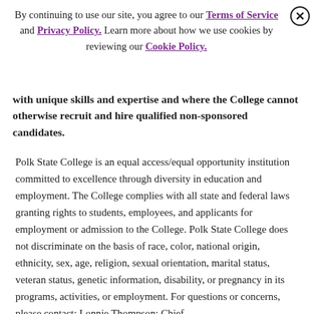By continuing to use our site, you agree to our Terms of Service and Privacy Policy. Learn more about how we use cookies by reviewing our Cookie Policy.
with unique skills and expertise and where the College cannot otherwise recruit and hire qualified non-sponsored candidates.
Polk State College is an equal access/equal opportunity institution committed to excellence through diversity in education and employment. The College complies with all state and federal laws granting rights to students, employees, and applicants for employment or admission to the College. Polk State College does not discriminate on the basis of race, color, national origin, ethnicity, sex, age, religion, sexual orientation, marital status, veteran status, genetic information, disability, or pregnancy in its programs, activities, or employment. For questions or concerns, please contact: Lonnie Thompson; Chief